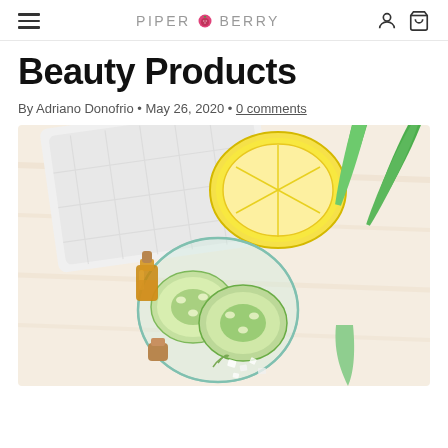PIPER BERRY
Beauty Products
By Adriano Donofrio • May 26, 2020 • 0 comments
[Figure (photo): Flat-lay photo of natural beauty product ingredients on a light wood surface: a half lemon, aloe vera leaves, cucumber slices in a glass bowl, a small amber bottle with cork, a cork stopper, sea salt crystals, and a white folded cloth/towel in the background.]